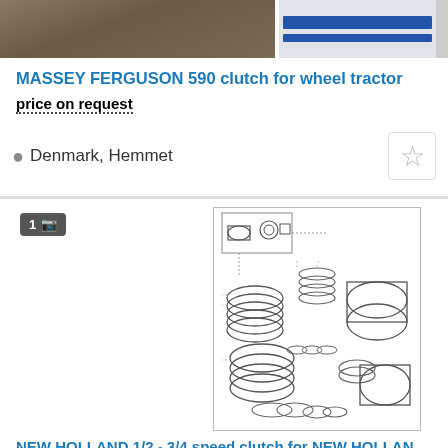[Figure (photo): Top portion of two product listing images: left shows brown/earth tractor part, right shows partial image with blue stripes]
MASSEY FERGUSON 590 clutch for wheel tractor
price on request
Denmark, Hemmet
[Figure (engineering-diagram): Exploded engineering diagram of NEW HOLLAND 1/2 - 3/4 speed clutch components showing springs, discs, seals, and mechanical parts]
NEW HOLLAND 1/2 - 3/4 speed clutch for NEW HOLLAN...
€1,037  PLN  USD
Poland, Opojaniec